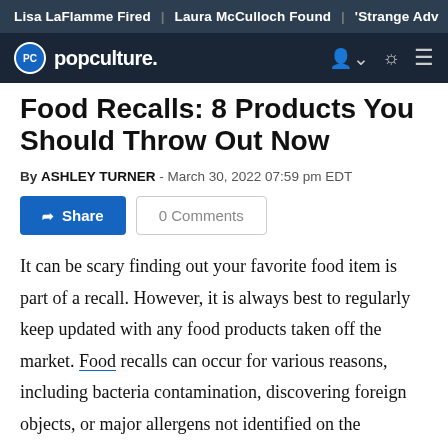Lisa LaFlamme Fired | Laura McCulloch Found | 'Strange Adv
[Figure (logo): Popculture.com navigation bar with PC logo, site name 'popculture.', user icon, brightness icon, and hamburger menu]
Food Recalls: 8 Products You Should Throw Out Now
By ASHLEY TURNER - March 30, 2022 07:59 pm EDT
Share | 0 Comments
It can be scary finding out your favorite food item is part of a recall. However, it is always best to regularly keep updated with any food products taken off the market. Food recalls can occur for various reasons, including bacteria contamination, discovering foreign objects, or major allergens not identified on the packaging.